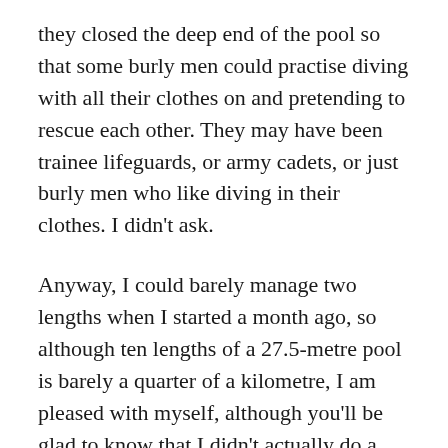they closed the deep end of the pool so that some burly men could practise diving with all their clothes on and pretending to rescue each other. They may have been trainee lifeguards, or army cadets, or just burly men who like diving in their clothes. I didn't ask.
Anyway, I could barely manage two lengths when I started a month ago, so although ten lengths of a 27.5-metre pool is barely a quarter of a kilometre, I am pleased with myself, although you'll be glad to know that I didn't actually do a fist pump.
Weirdly, in just four weeks of swimming I have become noticeably (to me and the beloved, possibly